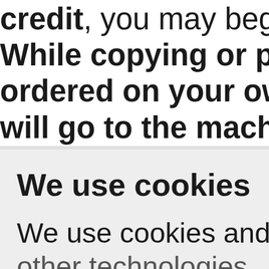credit, you may begin While copying or prin ordered on your own will go to the machin
We use cookies
We use cookies and other technologies